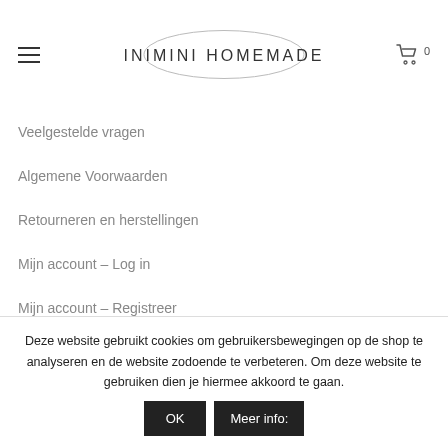INIMINI HOMEMADE
Veelgestelde vragen
Algemene Voorwaarden
Retourneren en herstellingen
Mijn account – Log in
Mijn account – Registreer
My Glow Points – Mijn kortingsbonnen
Deze website gebruikt cookies om gebruikersbewegingen op de shop te analyseren en de website zodoende te verbeteren. Om deze website te gebruiken dien je hiermee akkoord te gaan.